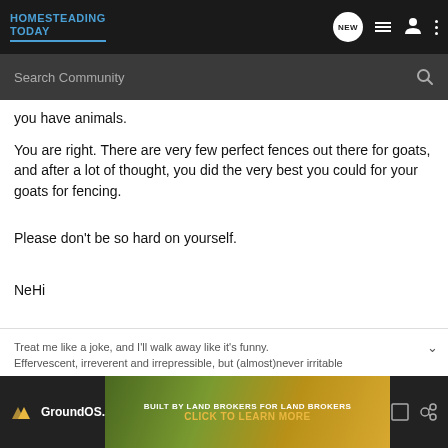HOMESTEADING TODAY
you have animals.
You are right. There are very few perfect fences out there for goats, and after a lot of thought, you did the very best you could for your goats for fencing.
Please don't be so hard on yourself.
NeHi
Treat me like a joke, and I'll walk away like it's funny.
Effervescent, irreverent and irrepressible, but (almost)never irritable
[Figure (screenshot): GroundOS advertisement banner: Built by Land Brokers for Land Brokers - Click to Learn More]